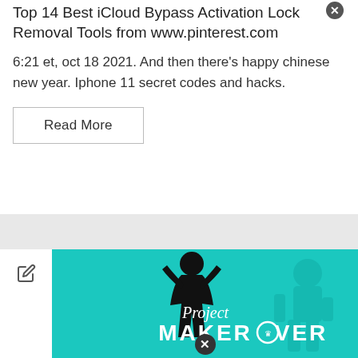Top 14 Best iCloud Bypass Activation Lock Removal Tools from www.pinterest.com
6:21 et, oct 18 2021. And then there's happy chinese new year. Iphone 11 secret codes and hacks.
Read More
[Figure (illustration): Project Makeover banner with teal background, silhouette of a person posing, and text 'Project MAKEOVER' with a crown icon inside the letter O. A close/X circle icon at the bottom. Edit/pencil icon in white panel to the left.]